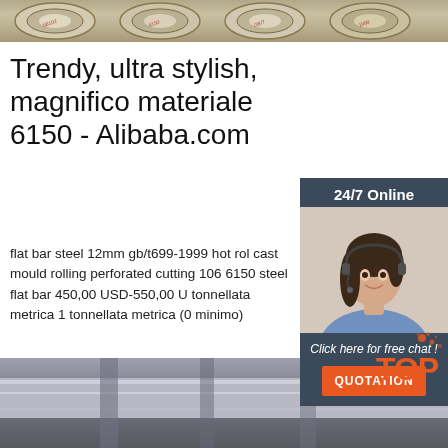[Figure (photo): Top strip showing steel rods/coils from above with markings]
Trendy, ultra stylish, magnifico materiale 6150 - Alibaba.com
[Figure (photo): Sidebar showing 24/7 Online chat widget with woman wearing headset, 'Click here for free chat!' text, and orange QUOTATION button]
flat bar steel 12mm gb/t699-1999 hot rol cast mould rolling perforated cutting 106 6150 steel flat bar 450,00 USD-550,00 U tonnellata metrica 1 tonnellata metrica (0 minimo)
[Figure (other): Green Get Price button]
[Figure (photo): Bottom image showing polished steel flat bar surface in warehouse]
[Figure (logo): TOP orange logo with splatter graphic in lower right]